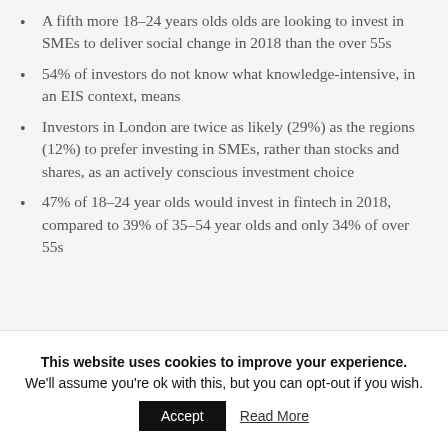A fifth more 18-24 years olds olds are looking to invest in SMEs to deliver social change in 2018 than the over 55s
54% of investors do not know what knowledge-intensive, in an EIS context, means
Investors in London are twice as likely (29%) as the regions (12%) to prefer investing in SMEs, rather than stocks and shares, as an actively conscious investment choice
47% of 18-24 year olds would invest in fintech in 2018, compared to 39% of 35-54 year olds and only 34% of over 55s
This website uses cookies to improve your experience. We'll assume you're ok with this, but you can opt-out if you wish. Accept  Read More